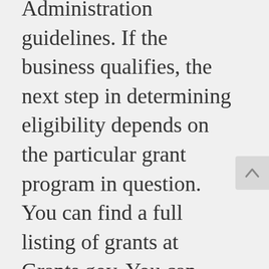Administration guidelines. If the business qualifies, the next step in determining eligibility depends on the particular grant program in question. You can find a full listing of grants at Grants.gov. You can search the listings by category or by keywords. The list includes grants on research in many different categories including agriculture, transportation, energy, education, defense, and science name just a few.
Small business grants have different requirements of those applying for the